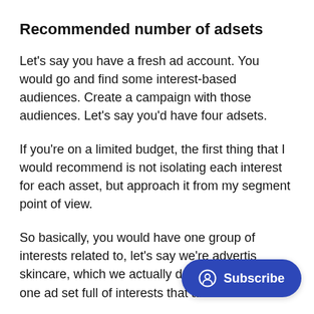Recommended number of adsets
Let's say you have a fresh ad account. You would go and find some interest-based audiences. Create a campaign with those audiences. Let's say you'd have four adsets.
If you're on a limited budget, the first thing that I would recommend is not isolating each interest for each asset, but approach it from my segment point of view.
So basically, you would have one group of interests related to, let's say we're advertis skincare, which we actually do qu you'd have one ad set full of interests that are